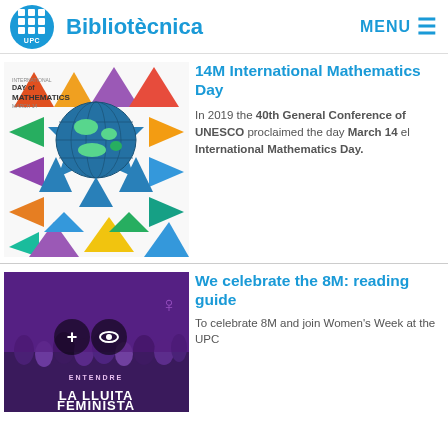Bibliotècnica  MENU
[Figure (illustration): International Mathematics Day colorful triangles and globe star graphic]
14M International Mathematics Day
In 2019 the 40th General Conference of UNESCO proclaimed the day March 14 el International Mathematics Day.
[Figure (photo): Purple crowd photo with feminist protest for 8M Women's Day, book cover 'La Lluita Feminista']
We celebrate the 8M: reading guide
To celebrate 8M and join Women's Week at the UPC